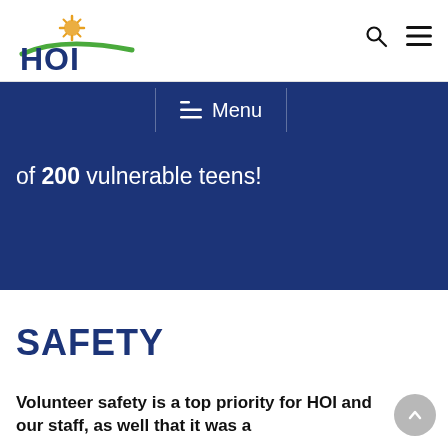[Figure (logo): HOI organization logo with sun/gear icon above and green swoosh beneath bold blue HOI text]
Menu
of 200 vulnerable teens!
SAFETY
Volunteer safety is a top priority for HOI and our staff, as well that it was a